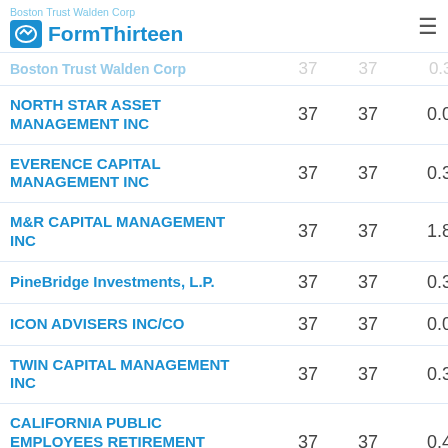Boston Trust Walden Corp | FormThirteen
| Firm | Col1 | Col2 | Value |
| --- | --- | --- | --- |
| Boston Trust Walden Corp | 37 | 37 | 0.39 |
| NORTH STAR ASSET MANAGEMENT INC | 37 | 37 | 0.05 |
| EVERENCE CAPITAL MANAGEMENT INC | 37 | 37 | 0.36 |
| M&R CAPITAL MANAGEMENT INC | 37 | 37 | 1.80 |
| PineBridge Investments, L.P. | 37 | 37 | 0.35 |
| ICON ADVISERS INC/CO | 37 | 37 | 0.06 |
| TWIN CAPITAL MANAGEMENT INC | 37 | 37 | 0.39 |
| CALIFORNIA PUBLIC EMPLOYEES RETIREMENT SYSTEM | 37 | 37 | 0.43 |
| BNP Paribas Asset Management Holding S.A. | 37 | 37 | 0.31 |